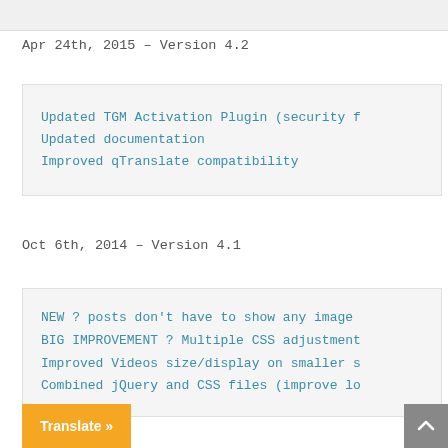Apr 24th, 2015 – Version 4.2
Updated TGM Activation Plugin (security f
Updated documentation
Improved qTranslate compatibility
Oct 6th, 2014 – Version 4.1
NEW ? posts don't have to show any image
BIG IMPROVEMENT ? Multiple CSS adjustment
Improved Videos size/display on smaller s
Combined jQuery and CSS files (improve lo